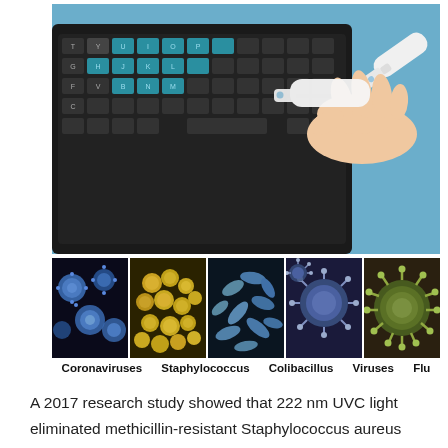[Figure (photo): Hand holding a white UV-C wand device over a black computer keyboard with blue-backlit keys, on a blue background.]
[Figure (photo): Row of five microscopy images: Coronaviruses (blue spherical particles on black), Staphylococcus (yellow clustered bacteria), Colibacillus (rod-shaped bacteria), Viruses (blue spiky spheres), Flu (green spiky sphere).]
Coronaviruses   Staphylococcus   Colibacillus   Viruses   Flu
A 2017 research study showed that 222 nm UVC light eliminated methicillin-resistant Staphylococcus aureus (MRSA) microorganisms equally as efficiently as a 254 nm